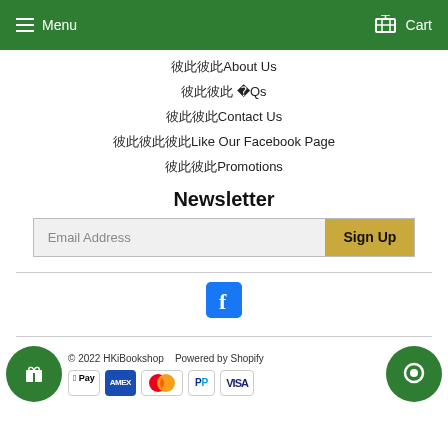Menu  Cart
彼此彼此About Us
彼此彼此 のFAQs
彼此彼此Contact Us
彼此彼此彼此Like Our Facebook Page
彼此彼此Promotions
Newsletter
Email Address  Sign Up
[Figure (logo): Facebook logo icon - blue square with white letter f]
© 2022 HKiBookshop  Powered by Shopify  Apple Pay  AMEX  Mastercard  PayPal  VISA